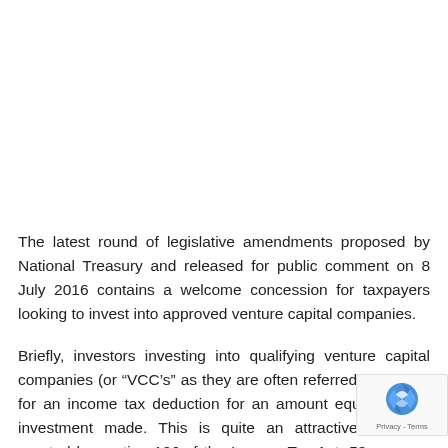The latest round of legislative amendments proposed by National Treasury and released for public comment on 8 July 2016 contains a welcome concession for taxpayers looking to invest into approved venture capital companies.
Briefly, investors investing into qualifying venture capital companies (or “VCC’s” as they are often referred to) qualify for an income tax deduction for an amount equal to their investment made. This is quite an attractive incentive granted by section 12J of the Income Tax Act, 58 … Currently, a number of requirements exist before an…